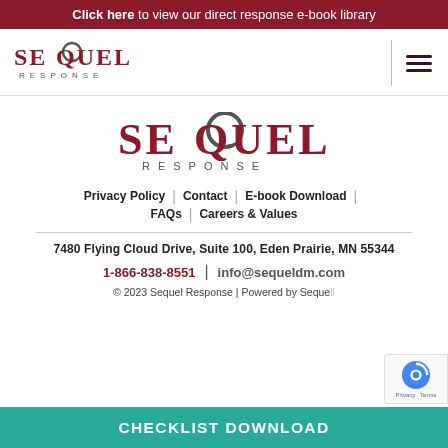Click here to view our direct response e-book library
[Figure (logo): Sequel Response logo (small, top-left navigation)]
[Figure (logo): Sequel Response logo (large, centered in page body)]
Privacy Policy | Contact | E-book Download | FAQs | Careers & Values
7480 Flying Cloud Drive, Suite 100, Eden Prairie, MN 55344
1-866-838-8551 | info@sequeldm.com
© 2023 Sequel Response | Powered by Sequel...
CHECKLIST DOWNLOAD